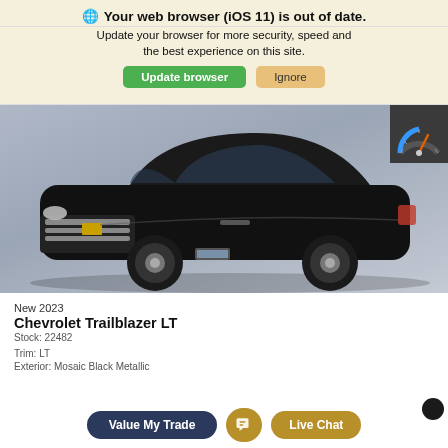Your web browser (iOS 11) is out of date.
Update your browser for more security, speed and the best experience on this site.
[Figure (screenshot): Black Chevrolet Trailblazer LT SUV shown on a grey gradient background. Speed gauge badge visible in top-right corner.]
New 2023
Chevrolet Trailblazer LT
Stock: 22482
Trim: LT
Exterior: Mosaic Black Metallic